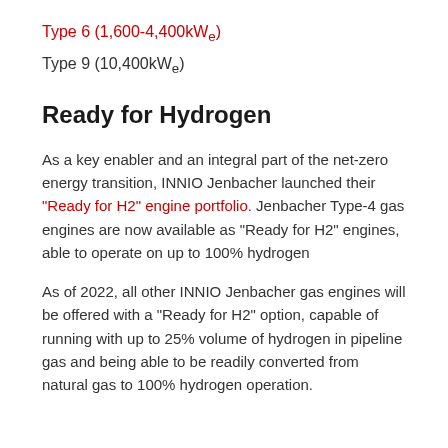Type 6 (1,600-4,400kWe)
Type 9 (10,400kWe)
Ready for Hydrogen
As a key enabler and an integral part of the net-zero energy transition, INNIO Jenbacher launched their “Ready for H2” engine portfolio. Jenbacher Type-4 gas engines are now available as “Ready for H2” engines, able to operate on up to 100% hydrogen
As of 2022, all other INNIO Jenbacher gas engines will be offered with a “Ready for H2” option, capable of running with up to 25% volume of hydrogen in pipeline gas and being able to be readily converted from natural gas to 100% hydrogen operation.